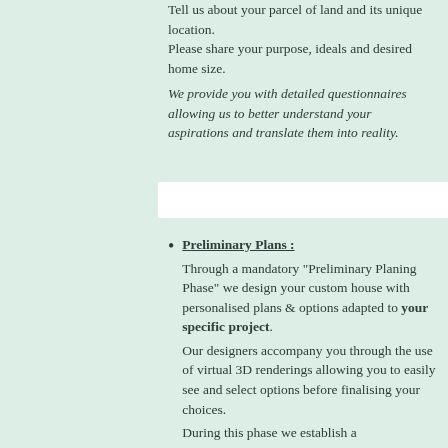Tell us about your parcel of land and its unique location. Please share your purpose, ideals and desired home size. We provide you with detailed questionnaires allowing us to better understand your aspirations and translate them into reality.
Preliminary Plans : Through a mandatory "Preliminary Planing Phase" we design your custom house with personalised plans & options adapted to your specific project. Our designers accompany you through the use of virtual 3D renderings allowing you to easily see and select options before finalising your choices. During this phase we establish a